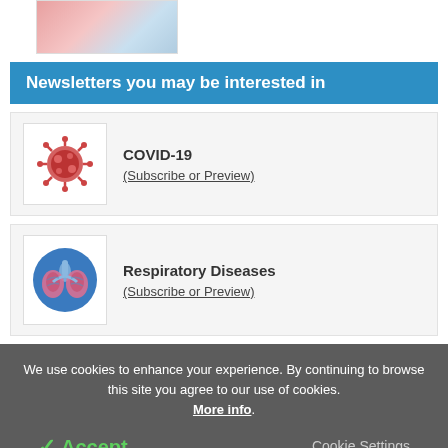[Figure (photo): Partial medical/blood sample image at top]
Newsletters you may be interested in
COVID-19 (Subscribe or Preview)
Respiratory Diseases (Subscribe or Preview)
We use cookies to enhance your experience. By continuing to browse this site you agree to our use of cookies. More info.
✓ Accept    Cookie Settings